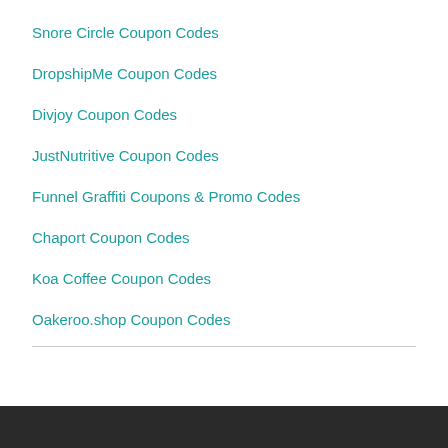Snore Circle Coupon Codes
DropshipMe Coupon Codes
Divjoy Coupon Codes
JustNutritive Coupon Codes
Funnel Graffiti Coupons & Promo Codes
Chaport Coupon Codes
Koa Coffee Coupon Codes
Oakeroo.shop Coupon Codes